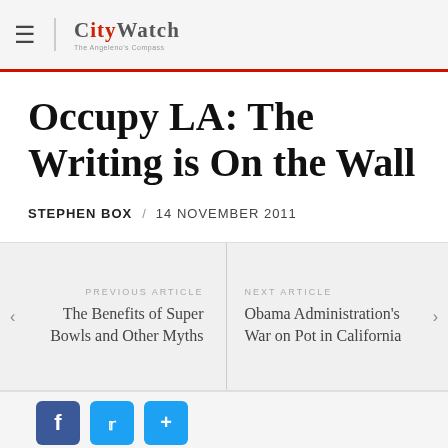CityWatch
Occupy LA: The Writing is On the Wall
STEPHEN BOX / 14 NOVEMBER 2011
PREVIOUS ARTICLE
The Benefits of Super Bowls and Other Myths
NEXT ARTICLE
Obama Administration's War on Pot in California
[Figure (infographic): Social sharing buttons: Facebook, Twitter, Share]